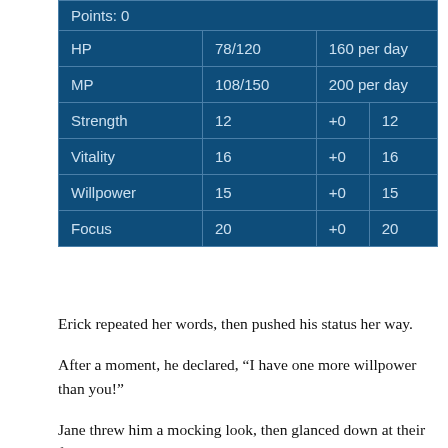|  |  |  |
| --- | --- | --- |
| Points: 0 |  |  |
| HP | 78/120 | 160 per day |
| MP | 108/150 | 200 per day |
| Strength | 12 | +0	12 |
| Vitality | 16 | +0	16 |
| Willpower | 15 | +0	15 |
| Focus | 20 | +0	20 |
Erick repeated her words, then pushed his status her way.
After a moment, he declared, “I have one more willpower than you!”
Jane threw him a mocking look, then glanced down at their feet to scan their trail. She looked up at the sun then over at the nearest crystal splash, making a minute course